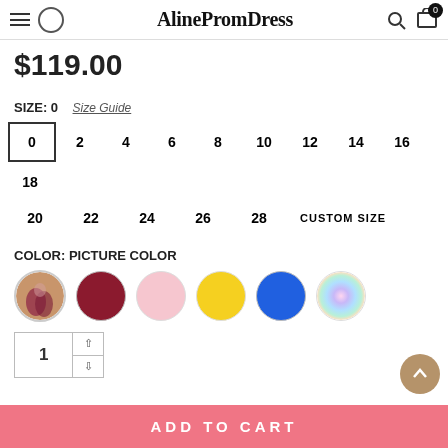AlinePromDress
$119.00
SIZE: 0  Size Guide
0  2  4  6  8  10  12  14  16  18  20  22  24  26  28  CUSTOM SIZE
COLOR: PICTURE COLOR
[Figure (photo): Six color swatches in circles: product photo (dark red dress), dark red/burgundy, light pink, yellow, royal blue, iridescent/holographic]
Quantity: 1
ADD TO CART